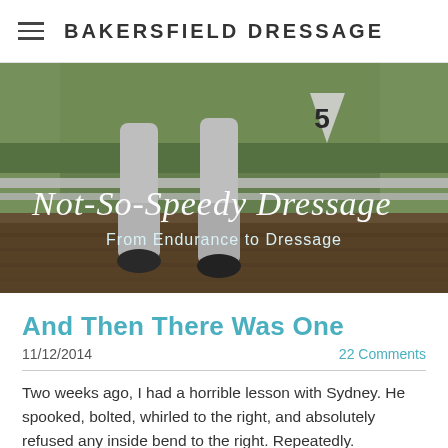BAKERSFIELD DRESSAGE
[Figure (photo): Close-up photo of white horse legs walking on a dirt arena surface with green grass in the background and a white fence. A competition number '5' marker is visible. Text overlay reads 'Not-So-Speedy Dressage' in italic script and 'From Endurance to Dressage' below it.]
And Then There Was One
11/12/2014                    22 Comments
Two weeks ago, I had a horrible lesson with Sydney. He spooked, bolted, whirled to the right, and absolutely refused any inside bend to the right. Repeatedly.